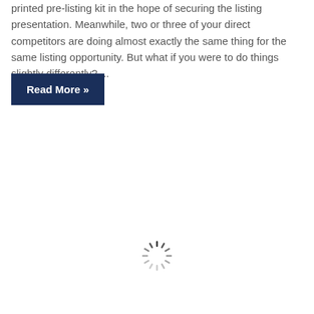printed pre-listing kit in the hope of securing the listing presentation. Meanwhile, two or three of your direct competitors are doing almost exactly the same thing for the same listing opportunity. But what if you were to do things slightly differently? ...
Read More »
[Figure (other): A loading spinner icon (dashed circular spinner in gray)]